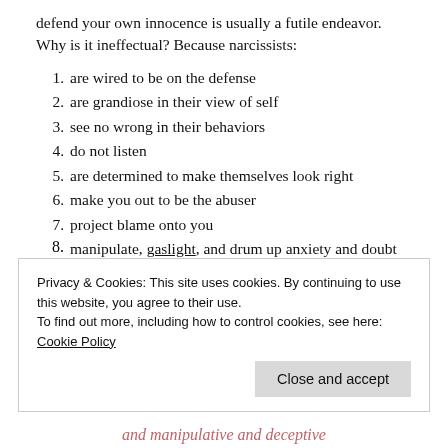defend your own innocence is usually a futile endeavor. Why is it ineffectual? Because narcissists:
are wired to be on the defense
are grandiose in their view of self
see no wrong in their behaviors
do not listen
are determined to make themselves look right
make you out to be the abuser
project blame onto you
manipulate, gaslight, and drum up anxiety and doubt in you (i.e., dismantle your self-confidence
Privacy & Cookies: This site uses cookies. By continuing to use this website, you agree to their use.
To find out more, including how to control cookies, see here: Cookie Policy
and manipulative and deceptive